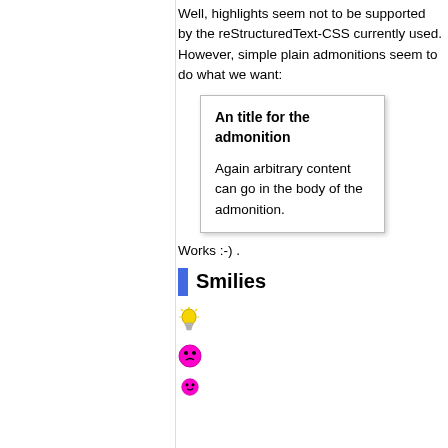Well, highlights seem not to be supported by the reStructuredText-CSS currently used. However, simple plain admonitions seem to do what we want:
An title for the admonition

Again arbitrary content can go in the body of the admonition.
Works :-) .
Smilies
[Figure (illustration): Lightbulb emoji/icon]
[Figure (illustration): Pink/magenta sad smiley face pixel icon]
[Figure (illustration): Pink/magenta smiley face pixel icon (partial)]